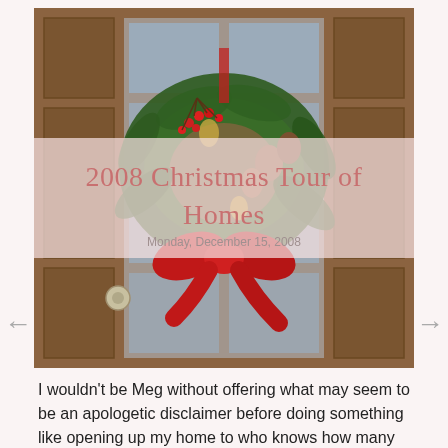[Figure (photo): A Christmas wreath with red berries, pinecones, and a large red bow hanging on a wooden door with glass panels. The image has a semi-transparent overlay with blog post title and date.]
2008 Christmas Tour of Homes
Monday, December 15, 2008
I wouldn't be Meg without offering what may seem to be an apologetic disclaimer before doing something like opening up my home to who knows how many people. But since there might be visitors stopping by from ReeMama's wonderful Christmas... Read more